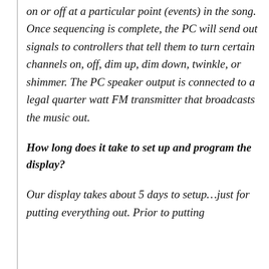on or off at a particular point (events) in the song. Once sequencing is complete, the PC will send out signals to controllers that tell them to turn certain channels on, off, dim up, dim down, twinkle, or shimmer. The PC speaker output is connected to a legal quarter watt FM transmitter that broadcasts the music out.
How long does it take to set up and program the display?
Our display takes about 5 days to setup…just for putting everything out. Prior to putting